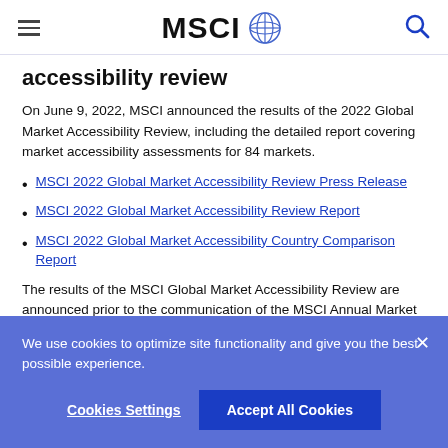MSCI
accessibility review
On June 9, 2022, MSCI announced the results of the 2022 Global Market Accessibility Review, including the detailed report covering market accessibility assessments for 84 markets.
MSCI 2022 Global Market Accessibility Review Press Release
MSCI 2022 Global Market Accessibility Review Report
MSCI 2022 Global Market Accessibility Country Comparison Report
The results of the MSCI Global Market Accessibility Review are announced prior to the communication of the MSCI Annual Market Classification Review in June of each year.
We use cookies to optimize site functionality and give you the best possible experience.